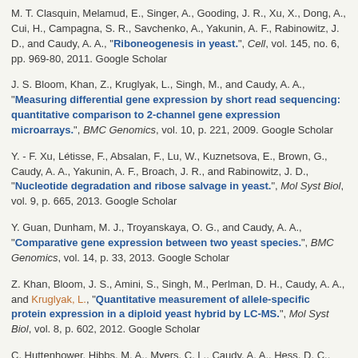M. T. Clasquin, Melamud, E., Singer, A., Gooding, J. R., Xu, X., Dong, A., Cui, H., Campagna, S. R., Savchenko, A., Yakunin, A. F., Rabinowitz, J. D., and Caudy, A. A., "Riboneogenesis in yeast.", Cell, vol. 145, no. 6, pp. 969-80, 2011. Google Scholar
J. S. Bloom, Khan, Z., Kruglyak, L., Singh, M., and Caudy, A. A., "Measuring differential gene expression by short read sequencing: quantitative comparison to 2-channel gene expression microarrays.", BMC Genomics, vol. 10, p. 221, 2009. Google Scholar
Y. - F. Xu, Létisse, F., Absalan, F., Lu, W., Kuznetsova, E., Brown, G., Caudy, A. A., Yakunin, A. F., Broach, J. R., and Rabinowitz, J. D., "Nucleotide degradation and ribose salvage in yeast.", Mol Syst Biol, vol. 9, p. 665, 2013. Google Scholar
Y. Guan, Dunham, M. J., Troyanskaya, O. G., and Caudy, A. A., "Comparative gene expression between two yeast species.", BMC Genomics, vol. 14, p. 33, 2013. Google Scholar
Z. Khan, Bloom, J. S., Amini, S., Singh, M., Perlman, D. H., Caudy, A. A., and Kruglyak, L., "Quantitative measurement of allele-specific protein expression in a diploid yeast hybrid by LC-MS.", Mol Syst Biol, vol. 8, p. 602, 2012. Google Scholar
C. Huttenhower, Hibbs, M. A., Myers, C. L., Caudy, A. A., Hess, D. C., and Troyanskaya, O. G., "The impact of incomplete knowledge on evaluation: an experimental benchmark for protein function prediction.", Bioinformatics, vol. 25, no. 18, pp. 2404-10,